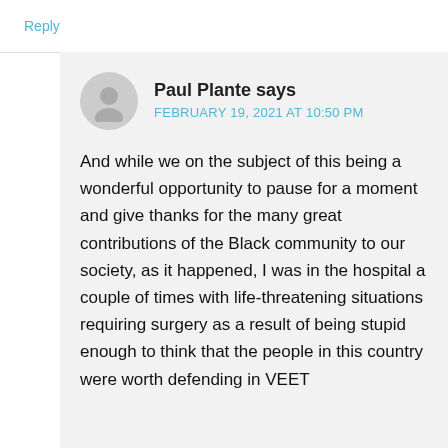Reply
Paul Plante says
FEBRUARY 19, 2021 AT 10:50 PM
And while we on the subject of this being a wonderful opportunity to pause for a moment and give thanks for the many great contributions of the Black community to our society, as it happened, I was in the hospital a couple of times with life-threatening situations requiring surgery as a result of being stupid enough to think that the people in this country were worth defending in VEET